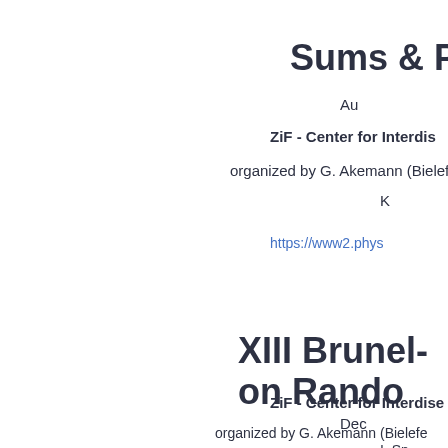Sums & Produc...
Au...
ZiF - Center for Interdis...
organized by G. Akemann (Bielefe...
K...
https://www2.phys...
XIII Brunel-... on Rando...
Dec...
ZiF - Center for Interdis...
organized by G. Akemann (Bielefe...
I. Sn...